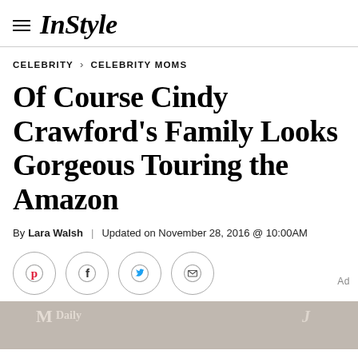InStyle
CELEBRITY > CELEBRITY MOMS
Of Course Cindy Crawford's Family Looks Gorgeous Touring the Amazon
By Lara Walsh | Updated on November 28, 2016 @ 10:00AM
[Figure (other): Social sharing buttons: Pinterest, Facebook, Twitter, Email]
[Figure (photo): Partial photo of people at an event with logo overlays including 'M Daily' and 'J' branding]